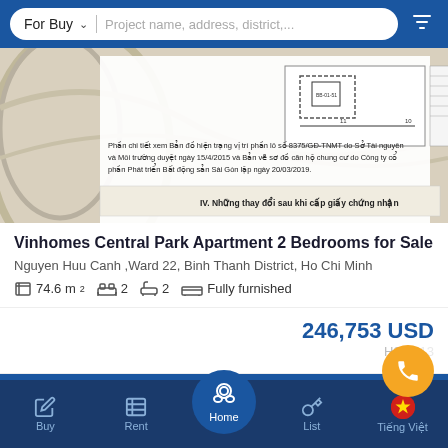For Buy | Project name, address, district,...
[Figure (photo): Property document/map image showing a land plot diagram with Vietnamese text: 'Phần chi tiết xem Bản đồ hiện trạng vị trí phần lô số 8375/GĐ-TNMT do Sở Tài nguyên và Môi trường duyệt ngày 15/4/2015 và Bản vẽ sơ đồ căn hộ chung cư do Công ty cổ phần Phát triển Bất động sản Sài Gòn lập ngày 20/03/2019.' and 'IV. Những thay đổi sau khi cấp giấy chứng nhận']
Vinhomes Central Park Apartment 2 Bedrooms for Sale
Nguyen Huu Canh ,Ward 22, Binh Thanh District, Ho Chi Minh
74.6 m²  2  2  Fully furnished
246,753 USD
H21-713
Buy  Rent  Home  List  Tiếng Việt